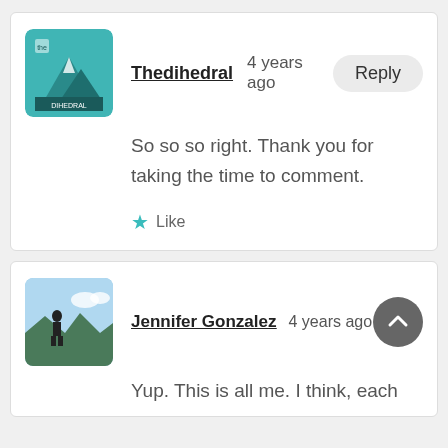[Figure (screenshot): User comment section showing two comments. First comment by Thedihedral with a teal mountain logo avatar, posted 4 years ago, with a Reply button. Comment text: 'So so so right. Thank you for taking the time to comment.' with a Like button. Second comment by Jennifer Gonzalez posted 4 years ago with a back-to-top button, partial text 'Yup. This is all me. I think, each']